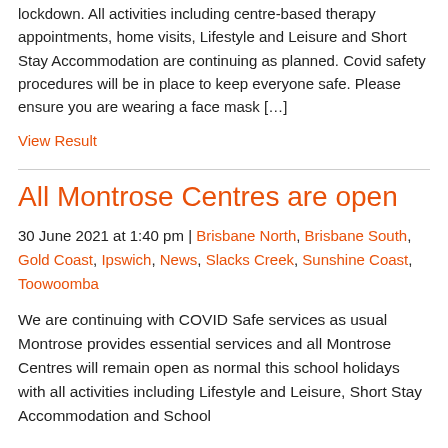lockdown. All activities including centre-based therapy appointments, home visits, Lifestyle and Leisure and Short Stay Accommodation are continuing as planned. Covid safety procedures will be in place to keep everyone safe. Please ensure you are wearing a face mask […]
View Result
All Montrose Centres are open
30 June 2021 at 1:40 pm | Brisbane North, Brisbane South, Gold Coast, Ipswich, News, Slacks Creek, Sunshine Coast, Toowoomba
We are continuing with COVID Safe services as usual Montrose provides essential services and all Montrose Centres will remain open as normal this school holidays with all activities including Lifestyle and Leisure, Short Stay Accommodation and School